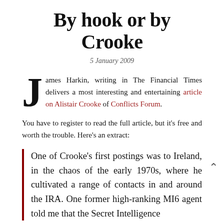By hook or by Crooke
5 January 2009
James Harkin, writing in The Financial Times delivers a most interesting and entertaining article on Alistair Crooke of Conflicts Forum.
You have to register to read the full article, but it’s free and worth the trouble. Here’s an extract:
One of Crooke’s first postings was to Ireland, in the chaos of the early 1970s, where he cultivated a range of contacts in and around the IRA. One former high-ranking MI6 agent told me that the Secret Intelligence